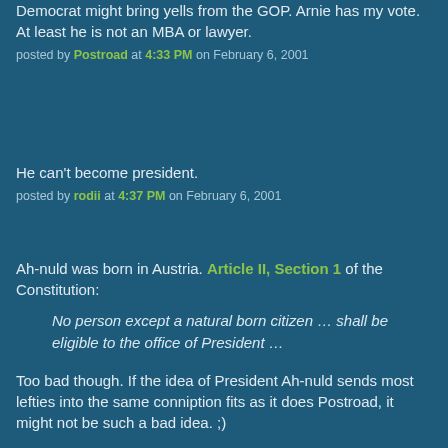Democrat might bring yells from the GOP. Arnie has my vote. At least he is not an MBA or lawyer.
posted by Postroad at 4:33 PM on February 6, 2001
He can't become president.
posted by rodii at 4:37 PM on February 6, 2001
Ah-nuld was born in Austria. Article II, Section 1 of the Constitution:
No person except a natural born citizen ... shall be eligible to the office of President ...
Too bad though. If the idea of President Ah-nuld sends most lefties into the same conniption fits as it does Postroad, it might not be such a bad idea. ;)